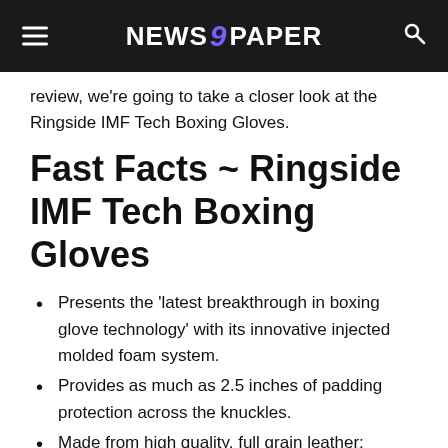NEWS 9 PAPER
review, we're going to take a closer look at the Ringside IMF Tech Boxing Gloves.
Fast Facts ~ Ringside IMF Tech Boxing Gloves
Presents the 'latest breakthrough in boxing glove technology' with its innovative injected molded foam system.
Provides as much as 2.5 inches of padding protection across the knuckles.
Made from high quality, full grain leather; stitched together with high quality grade A stitching.
Interior lining made from a soft, snag-free material that